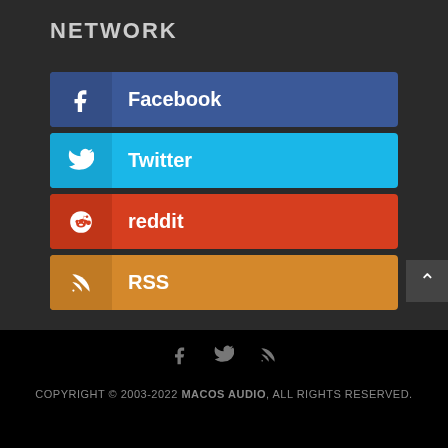NETWORK
Facebook
Twitter
reddit
RSS
COPYRIGHT © 2003-2022 MACOS AUDIO, ALL RIGHTS RESERVED.